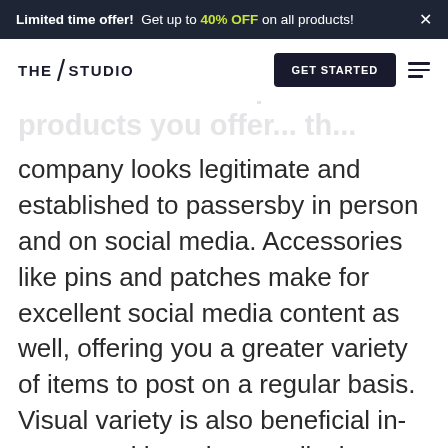Limited time offer! Get up to 40% OFF on all products! ×
THE STUDIO | GET STARTED
r overall brand repu... The ... products you offer... th... company looks legitimate and established to passersby in person and on social media. Accessories like pins and patches make for excellent social media content as well, offering you a greater variety of items to post on a regular basis. Visual variety is also beneficial in-person, with cash wrap displays and storefronts seeing increased foot traffic when colorful accessories are added into the mix. Variety draws customers in — and assuming you're working with a reputable manufacturer,